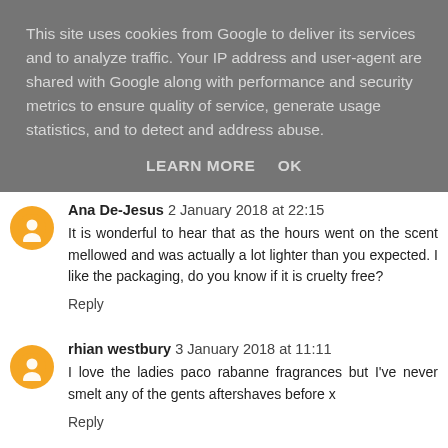This site uses cookies from Google to deliver its services and to analyze traffic. Your IP address and user-agent are shared with Google along with performance and security metrics to ensure quality of service, generate usage statistics, and to detect and address abuse.
LEARN MORE   OK
Ana De-Jesus 2 January 2018 at 22:15
It is wonderful to hear that as the hours went on the scent mellowed and was actually a lot lighter than you expected. I like the packaging, do you know if it is cruelty free?
Reply
rhian westbury 3 January 2018 at 11:11
I love the ladies paco rabanne fragrances but I've never smelt any of the gents aftershaves before x
Reply